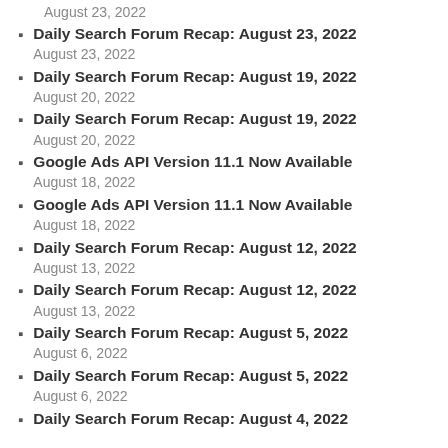Daily Search Forum Recap: August 23, 2022
August 23, 2022
Daily Search Forum Recap: August 19, 2022
August 20, 2022
Daily Search Forum Recap: August 19, 2022
August 20, 2022
Google Ads API Version 11.1 Now Available
August 18, 2022
Google Ads API Version 11.1 Now Available
August 18, 2022
Daily Search Forum Recap: August 12, 2022
August 13, 2022
Daily Search Forum Recap: August 12, 2022
August 13, 2022
Daily Search Forum Recap: August 5, 2022
August 6, 2022
Daily Search Forum Recap: August 5, 2022
August 6, 2022
Daily Search Forum Recap: August 4, 2022